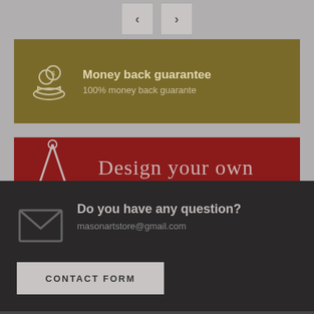[Figure (other): Navigation previous and next arrow buttons on gray background]
[Figure (infographic): Gold/olive colored banner with money-back guarantee icon (hand holding coins) and text: Money back guarantee, 100% money back guarante]
[Figure (infographic): Dark red banner with compass/drafting tool icon and text: Design your own Jewelry]
[Figure (infographic): Dark background section with envelope icon and contact information]
Do you have any question?
masonartstore@gmail.com
CONTACT FORM